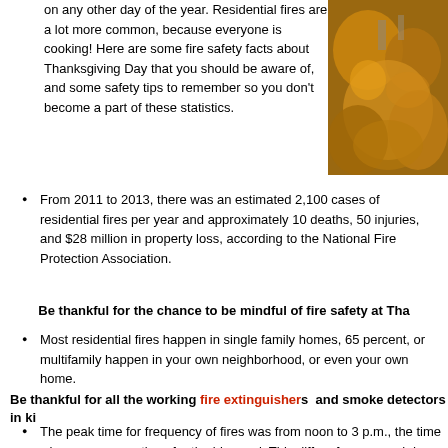on any other day of the year. Residential fires are a lot more common, because everyone is cooking! Here are some fire safety facts about Thanksgiving Day that you should be aware of, and some safety tips to remember so you don't become a part of these statistics.
[Figure (photo): Photo of Thanksgiving table with amber-colored glassware and dishes]
From 2011 to 2013, there was an estimated 2,100 cases of residential fires per year and approximately 10 deaths, 50 injuries, and $28 million in property loss, according to the National Fire Protection Association.
Be thankful for the chance to be mindful of fire safety at Tha...
Most residential fires happen in single family homes, 65 percent, or multifamily... happen in your own neighborhood, or even your own home.
Be thankful for all the working fire extinguishers  and smoke detectors in ki...
The peak time for frequency of fires was from noon to 3 p.m., the time when ma... preparations for the big meal. This differs from normal days, when residential b... occur during the dinner hours of 5 p.m. – 8 p.m.
Be thankful for properly attended stoves as we prepare the Than...